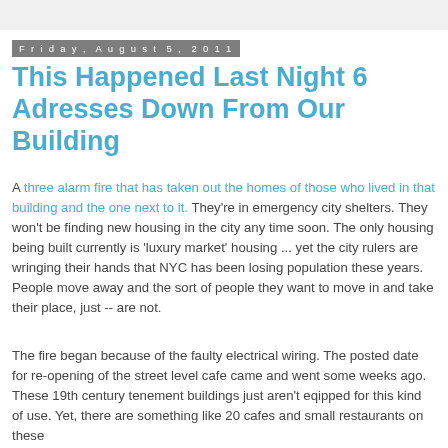Friday, August 5, 2011
This Happened Last Night 6 Adresses Down From Our Building
A three alarm fire that has taken out the homes of those who lived in that building and the one next to it. They're in emergency city shelters. They won't be finding new housing in the city any time soon. The only housing being built currently is 'luxury market' housing ... yet the city rulers are wringing their hands that NYC has been losing population these years. People move away and the sort of people they want to move in and take their place, just -- are not.
The fire began because of the faulty electrical wiring. The posted date for re-opening of the street level cafe came and went some weeks ago. These 19th century tenement buildings just aren't eqipped for this kind of use. Yet, there are something like 20 cafes and small restaurants on these